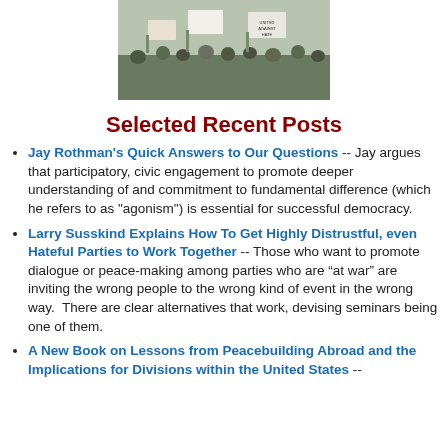[Figure (photo): Crowd of protesters holding signs, including one that reads 'United Against Hate']
Selected Recent Posts
Jay Rothman's Quick Answers to Our Questions -- Jay argues that participatory, civic engagement to promote deeper understanding of and commitment to fundamental difference (which he refers to as "agonism") is essential for successful democracy.
Larry Susskind Explains How To Get Highly Distrustful, even Hateful Parties to Work Together -- Those who want to promote dialogue or peace-making among parties who are “at war” are inviting the wrong people to the wrong kind of event in the wrong way.  There are clear alternatives that work, devising seminars being one of them.
A New Book on Lessons from Peacebuilding Abroad and the Implications for Divisions within the United States --